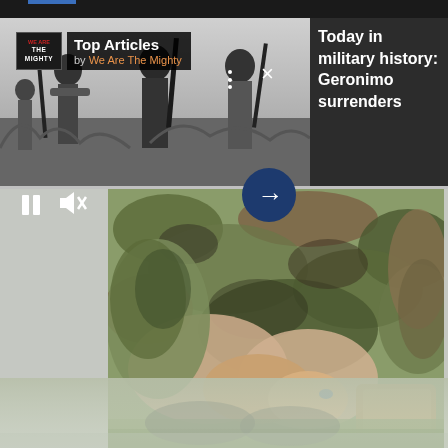[Figure (screenshot): Mobile app screenshot showing a 'Top Articles by We Are The Mighty' card overlaid on a historical black and white photograph of Native Americans (Geronimo and others) holding rifles. Media player controls visible: pause button, mute icon, next arrow button, three-dots menu, and close X button.]
Today in military history: Geronimo surrenders
[Figure (photo): Close-up photograph of a soldier in camouflage uniform lying on grass, hands visible tying or handling equipment. A tan pouch is visible to the right.]
[Figure (photo): Faded/reflected bottom portion showing boots on grass, appearing as a reflection or continuation of the soldier photo above.]